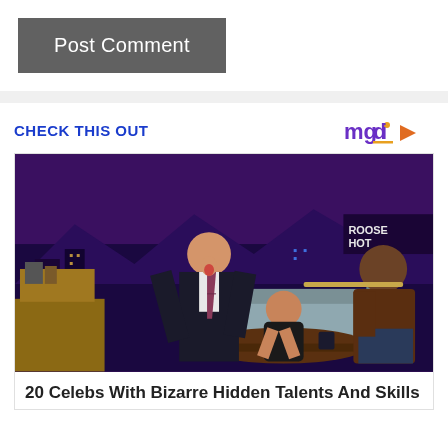Post Comment
[Figure (photo): A late-night TV show scene with a host in a suit leaning forward with mouth open in surprise, a woman crouching on the floor, and another man sitting on a couch playing a flute. The studio has a purple-lit cityscape backdrop and a 'Roosevelt Hotel' sign visible.]
CHECK THIS OUT
20 Celebs With Bizarre Hidden Talents And Skills